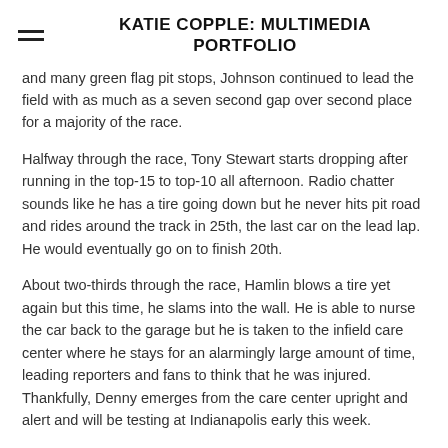KATIE COPPLE: MULTIMEDIA PORTFOLIO
and many green flag pit stops, Johnson continued to lead the field with as much as a seven second gap over second place for a majority of the race.
Halfway through the race, Tony Stewart starts dropping after running in the top-15 to top-10 all afternoon. Radio chatter sounds like he has a tire going down but he never hits pit road and rides around the track in 25th, the last car on the lead lap. He would eventually go on to finish 20th.
About two-thirds through the race, Hamlin blows a tire yet again but this time, he slams into the wall. He is able to nurse the car back to the garage but he is taken to the infield care center where he stays for an alarmingly large amount of time, leading reporters and fans to think that he was injured. Thankfully, Denny emerges from the care center upright and alert and will be testing at Indianapolis early this week.